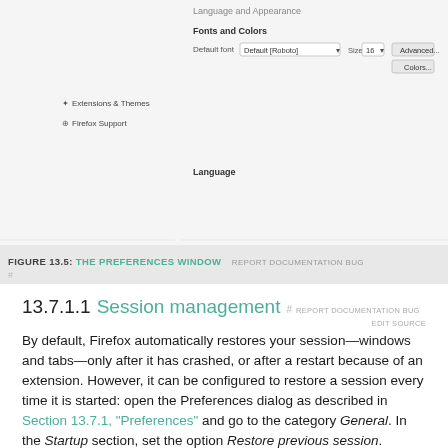[Figure (screenshot): Screenshot of Firefox Preferences window showing Language and Appearance section with Fonts and Colors subsection, default font dropdown set to Default [Roboto], size 16, with Advanced and Colors buttons, Extensions & Themes and Firefox Support sidebar items, and a Language section heading.]
FIGURE 13.5: THE PREFERENCES WINDOW  REPORT DOCUMENTATION BUG #
13.7.1.1 Session management
By default, Firefox automatically restores your session—windows and tabs—only after it has crashed, or after a restart because of an extension. However, it can be configured to restore a session every time it is started: open the Preferences dialog as described in Section 13.7.1, "Preferences" and go to the category General. In the Startup section, set the option Restore previous session.
When you have multiple windows open they will only be restored the next time when you close all of them